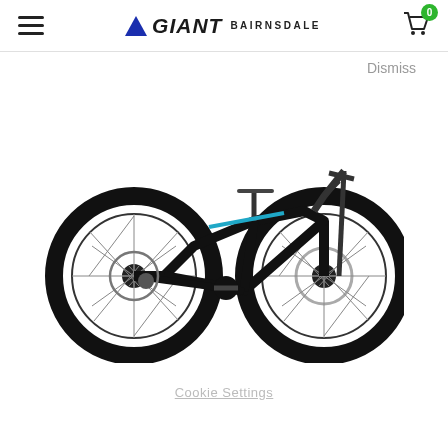Giant Bairnsdale - Navigation header with cart
Dismiss
[Figure (photo): A black mountain bike (Giant Liv brand) with teal accent graphics, disc brakes, and knobby tires, displayed on a white background.]
Cookie Settings